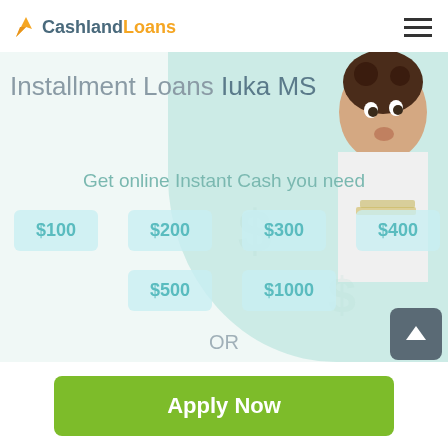CashlandLoans
Installment Loans Iuka MS
Get online Instant Cash you need
$100
$200
$300
$400
$500
$1000
OR
[Figure (photo): Young woman with surprised/playful expression holding cash, used as hero background image]
Apply Now
Applying does NOT affect your credit score!
No credit check to apply.